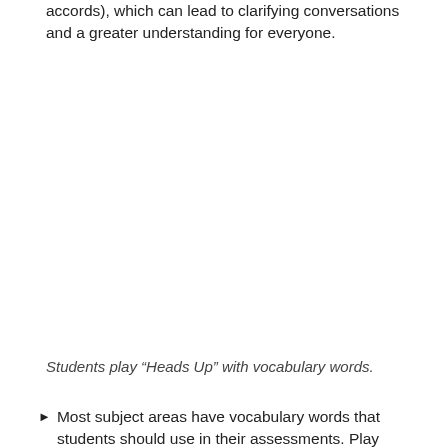accords), which can lead to clarifying conversations and a greater understanding for everyone.
Students play “Heads Up” with vocabulary words.
Most subject areas have vocabulary words that students should use in their assessments. Play “Heads Up” as a way